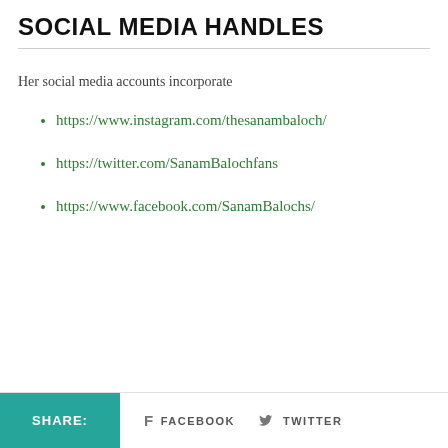SOCIAL MEDIA HANDLES
Her social media accounts incorporate
https://www.instagram.com/thesanambaloch/
https://twitter.com/SanamBalochfans
https://www.facebook.com/SanamBalochs/
SHARE:   f FACEBOOK   TWITTER